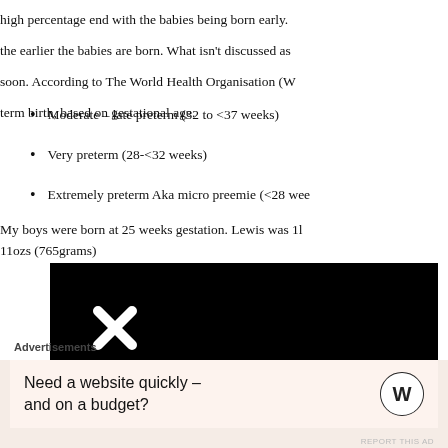high percentage end with the babies being born early. the earlier the babies are born. What isn't discussed as soon. According to The World Health Organisation (W term birth, based on gestational age.
Moderate – late preterm (32 to <37 weeks)
Very preterm (28-<32 weeks)
Extremely preterm Aka micro preemie (<28 weeks)
My boys were born at 25 weeks gestation. Lewis was 1lb 11ozs (765grams)
[Figure (screenshot): Black video player area with a white X close icon in the upper left area, and a circular close button (×) at the bottom right corner.]
Advertisements
Need a website quickly – and on a budget?